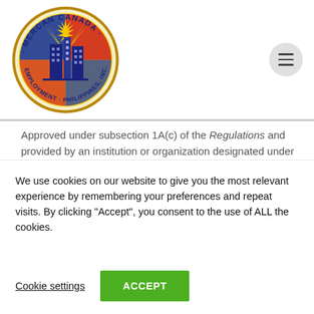[Figure (logo): Mercan Canada Employment Philippines Inc. circular logo with stylized blue buildings, yellow star burst background, surrounded by text 'MERCAN CANADA' at top and 'EMPLOYMENT PHILIPPINES INC.' at bottom, gold ring border.]
Approved under subsection 1A(c) of the Regulations and provided by an institution or organization designated under that subsection – that accompanied the permanent residence application referred to in (v) when it was submitted to the Department, and the attestation provided the
We use cookies on our website to give you the most relevant experience by remembering your preferences and repeat visits. By clicking "Accept", you consent to the use of ALL the cookies.
Cookie settings
ACCEPT